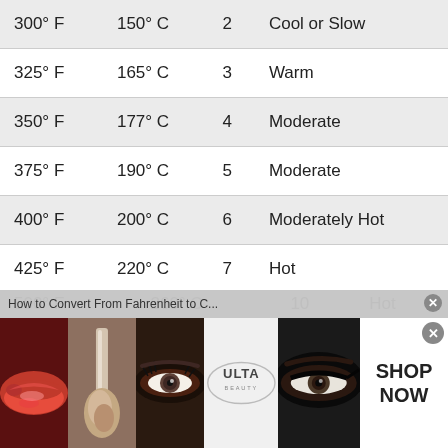| 300° F | 150° C | 2 | Cool or Slow |
| 325° F | 165° C | 3 | Warm |
| 350° F | 177° C | 4 | Moderate |
| 375° F | 190° C | 5 | Moderate |
| 400° F | 200° C | 6 | Moderately Hot |
| 425° F | 220° C | 7 | Hot |
| 450° F | 230° C | 8 | Hot |
| 475° F | 245° C | 9 | Hot |
[Figure (photo): Advertisement banner for ULTA Beauty showing cosmetic images (lips with lipstick, makeup brush, eye with makeup, ULTA logo, eye with dramatic makeup) with SHOP NOW call to action]